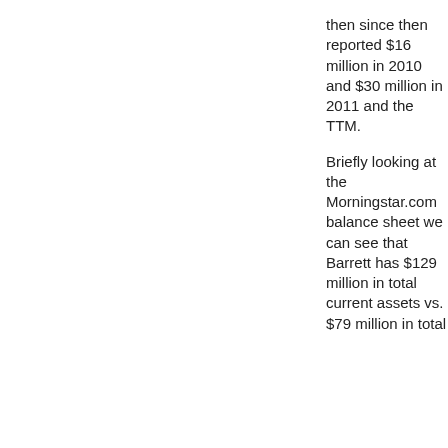then since then reported $16 million in 2010 and $30 million in 2011 and the TTM.
Briefly looking at the Morningstar.com balance sheet we can see that Barrett has $129 million in total current assets vs. $79 million in total